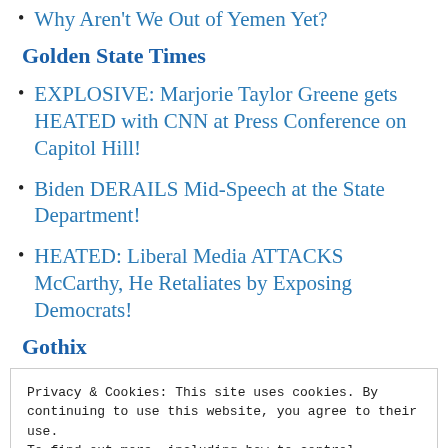Why Aren't We Out of Yemen Yet?
Golden State Times
EXPLOSIVE: Marjorie Taylor Greene gets HEATED with CNN at Press Conference on Capitol Hill!
Biden DERAILS Mid-Speech at the State Department!
HEATED: Liberal Media ATTACKS McCarthy, He Retaliates by Exposing Democrats!
Gothix
Privacy & Cookies: This site uses cookies. By continuing to use this website, you agree to their use.
To find out more, including how to control cookies, see here:
Cookie Policy

Close and accept
Trump Indicted Reports New York Times